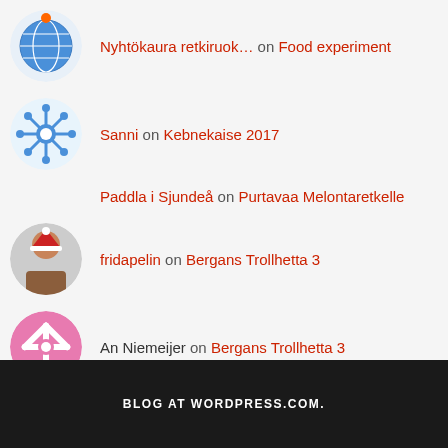Nyhtökaura retkiruok… on Food experiment
Sanni on Kebnekaise 2017
Paddla i Sjundeå on Purtavaa Melontaretkelle
fridapelin on Bergans Trollhetta 3
An Niemeijer on Bergans Trollhetta 3
Quentin on Bergans Trollhetta 3
BLOG AT WORDPRESS.COM.